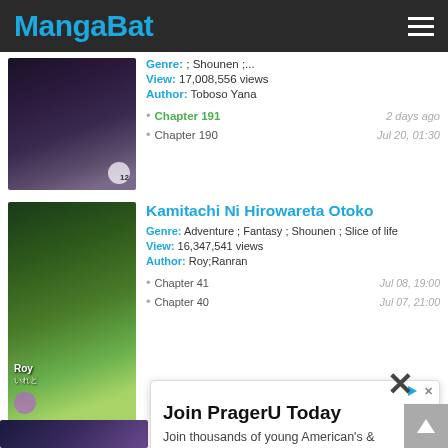MangaBat
; Shounen ;...
View: 17,008,556 views
Author: Toboso Yana
Chapter 191 — 2 days ago
Chapter 190 — Jul 20, 01:30
Kamitachi Ni Hirowareta Otoko
Genre: Adventure ; Fantasy ; Shounen ; Slice of life
View: 16,347,541 views
Author: Roy;Ranran
Chapter 41 — Jul 08, 19:00
Chapter 40 — Jul 07, 21:00
Join PragerU Today
Join thousands of young American's & subscribe to PragerU today.
PragerU
Subscribe
chi;